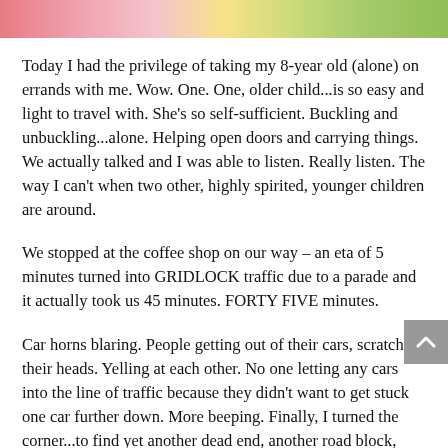[Figure (photo): Colorful blurred photo strip showing pink, yellow, and green colors at the top of the page]
Today I had the privilege of taking my 8-year old (alone) on errands with me. Wow. One. One, older child...is so easy and light to travel with. She's so self-sufficient. Buckling and unbuckling...alone. Helping open doors and carrying things. We actually talked and I was able to listen. Really listen. The way I can't when two other, highly spirited, younger children are around.
We stopped at the coffee shop on our way – an eta of 5 minutes turned into GRIDLOCK traffic due to a parade and it actually took us 45 minutes. FORTY FIVE minutes.
Car horns blaring. People getting out of their cars, scratching their heads. Yelling at each other. No one letting any cars into the line of traffic because they didn't want to get stuck one car further down. More beeping. Finally, I turned the corner...to find yet another dead end, another road block, more grid lock...more of the same frustration, obstacles, attempts...